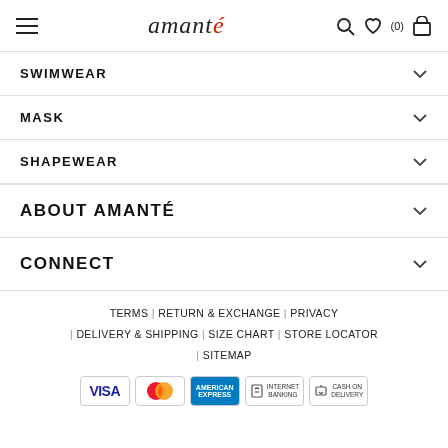amanté — hamburger menu, search, wishlist (0), cart icons
SWIMWEAR
MASK
SHAPEWEAR
ABOUT AMANTÉ
CONNECT
TERMS | RETURN & EXCHANGE | PRIVACY | DELIVERY & SHIPPING | SIZE CHART | STORE LOCATOR | SITEMAP
[Figure (other): Payment method icons: VISA, MasterCard, American Express, Internet Banking, Cash on Delivery]